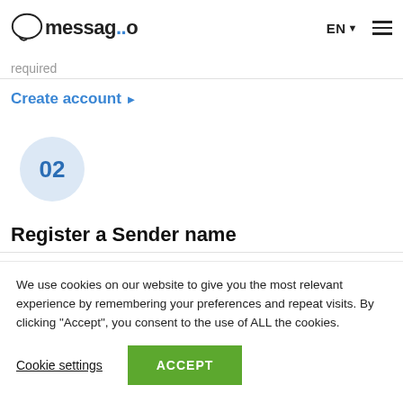messaggio | EN ☰
required
Create account ▶
[Figure (infographic): Step circle with number 02 inside a light blue circle]
Register a Sender name
We use cookies on our website to give you the most relevant experience by remembering your preferences and repeat visits. By clicking "Accept", you consent to the use of ALL the cookies.
Cookie settings   ACCEPT